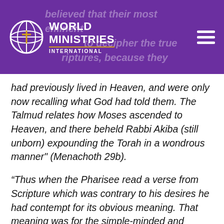World Ministries International
had previously lived in Heaven, and were only now recalling what God had told them. The Talmud relates how Moses ascended to Heaven, and there beheld Rabbi Akiba (still unborn) expounding the Torah in a wondrous manner" (Menachoth 29b).
“Thus when the Pharisee read a verse from Scripture which was contrary to his desires he had contempt for its obvious meaning. That meaning was for the simple-minded and unlearned. Instead, he would ponder the shapes of the letters, notice which letters were next to each other, count up the